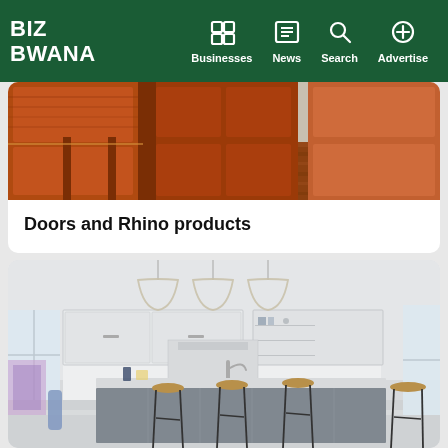BIZ BWANA — Businesses | News | Search | Advertise
[Figure (photo): Wooden doors and staircase with rich reddish-brown hardwood finish]
Doors and Rhino products
[Figure (photo): Modern kitchen interior with grey island, pendant lights, bar stools, and white upper cabinets]